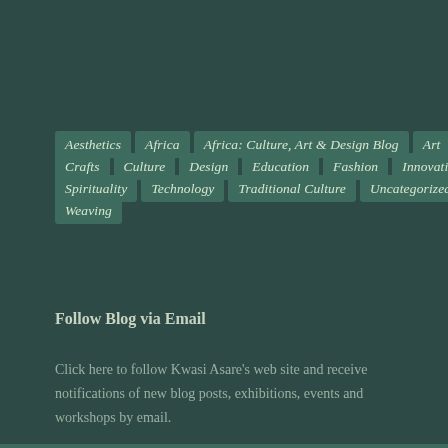Aesthetics
Africa
Africa: Culture, Art & Design Blog
Art
Beauty
Crafts
Culture
Design
Education
Fashion
Innovation
Kente
Spirituality
Technology
Traditional Culture
Uncategorized
Weaving
Follow Blog via Email
Click here to follow Kwasi Asare's web site and receive notifications of new blog posts, exhibitions, events and workshops by email.